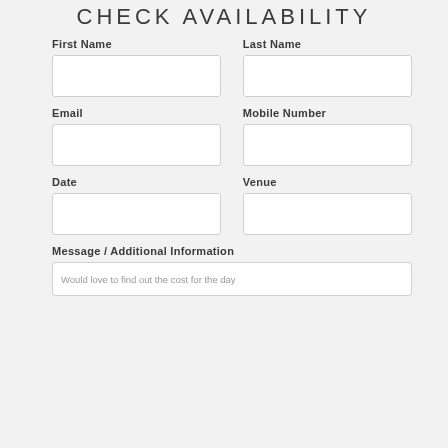CHECK AVAILABILITY
First Name
Last Name
Email
Mobile Number
Date
Venue
Message / Additional Information
Would love to find out the cost for the day